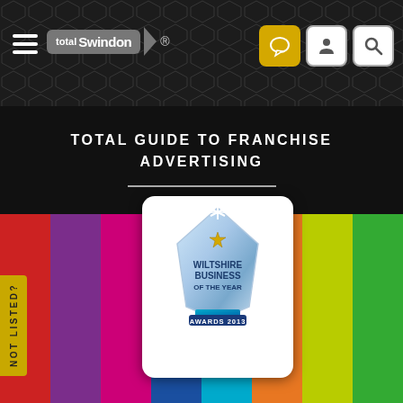[Figure (screenshot): Total Swindon website navigation bar with hamburger menu, logo, registered trademark symbol, and icons for chat, profile, and search on dark hexagonal background]
TOTAL GUIDE TO FRANCHISE ADVERTISING
[Figure (illustration): Colorful vertical bands (red, purple, magenta, dark blue, cyan, orange, light green, green) with a white rounded card in the center displaying the Wiltshire Business of the Year Awards 2013 crystal trophy logo, and a yellow NOT LISTED? tab on the left edge]